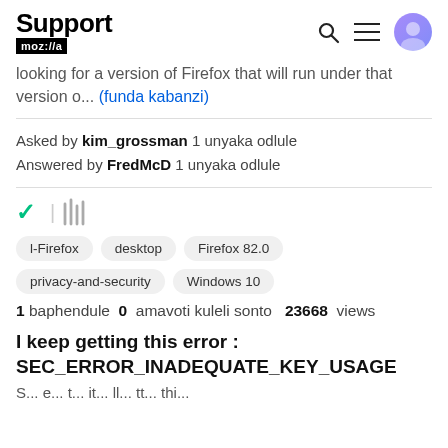Support moz://a
looking for a version of Firefox that will run under that version o... (funda kabanzi)
Asked by kim_grossman 1 unyaka odlule
Answered by FredMcD 1 unyaka odlule
[Figure (other): Checkmark icon and library/archive icon]
l-Firefox
desktop
Firefox 82.0
privacy-and-security
Windows 10
1 baphendule  0  amavoti kuleli sonto  23668  views
I keep getting this error : SEC_ERROR_INADEQUATE_KEY_USAGE
S... e... t... it... ll... tt... thi...